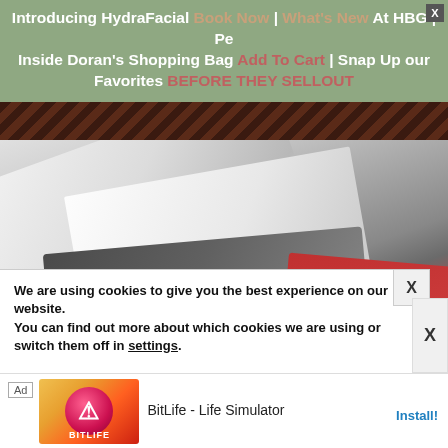Introducing HydraFacial Book Now | What's New At HBG | Peek Inside Doran's Shopping Bag Add To Cart | Snap Up our Favorites BEFORE THEY SELLOUT
[Figure (photo): Blurry close-up photo of credit/debit cards fanned out, showing partial year '2016', with dark brown striped strip above]
We are using cookies to give you the best experience on our website.
You can find out more about which cookies we are using or switch them off in settings.
[Figure (screenshot): Advertisement banner: BitLife - Life Simulator app ad with Install button]